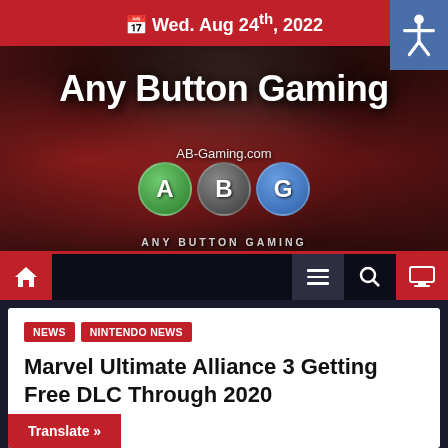Wed. Aug 24th, 2022
[Figure (logo): Any Button Gaming website banner with game character artwork background, ABG logo circles (A in green, B in grey, G in blue), site title 'Any Button Gaming' and URL 'AB-Gaming.com']
NEWS  NINTENDO NEWS
Marvel Ultimate Alliance 3 Getting Free DLC Through 2020